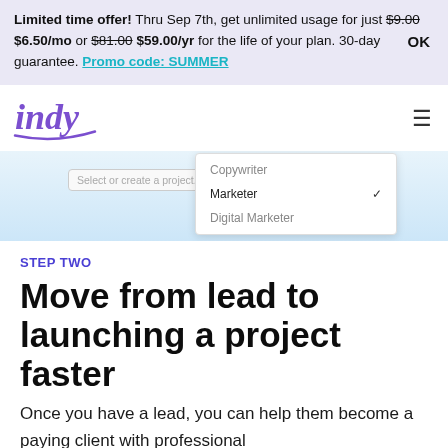Limited time offer! Thru Sep 7th, get unlimited usage for just $9.00 $6.50/mo or $81.00 $59.00/yr for the life of your plan. 30-day guarantee. Promo code: SUMMER   OK
[Figure (screenshot): Indy logo (purple cursive) on left, hamburger menu icon on right]
[Figure (screenshot): App UI screenshot showing a dropdown menu with options: Copywriter, Marketer (selected with checkmark), Digital Marketer. A 'Select or create a project...' input box is visible on the left.]
STEP TWO
Move from lead to launching a project faster
Once you have a lead, you can help them become a paying client with professional